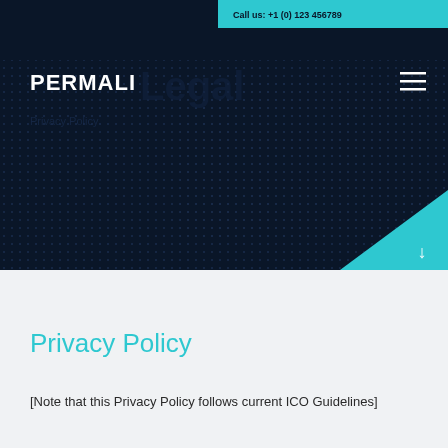[Figure (screenshot): Permali website header with dark navy background, dotted world map texture, cyan top bar with phone number, Permali logo in white, hamburger menu icon, and cyan triangle with down arrow at bottom right]
Privacy Policy
[Note that this Privacy Policy follows current ICO Guidelines]